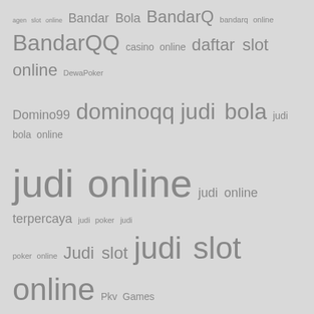[Figure (other): Tag cloud of gambling/betting related Indonesian keywords in various font sizes indicating frequency/weight. Keywords include: agen slot online, Bandar Bola, BandarQ, bandarq online, BandarQQ, casino online, daftar slot online, DewaPoker, Domino99, dominoqq, judi bola, judi bola online, judi online, judi online terpercaya, judi poker, judi poker online, Judi slot, judi slot online, Pkv Games, Poker88, poker online, poker online terpercaya, PokerQQ, qq online, sbobet, situs judi bola, situs judi online, situs judi online terpercaya, situs judi slot, situs judi slot online, situs judi slot online terpercaya, Situs Poker Online, situs slot, situs slot online, slot, Slot Gacor]